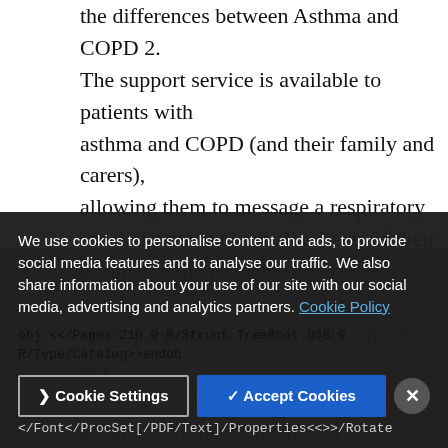the differences between Asthma and COPD 2. The support service is available to patients with asthma and COPD (and their family and carers), allowing them to message a respiratory specialist nurse about all aspects of their asthma ... The isolated clear circle represents study participants with COPD who did not have an additional defined phenotype of asthma, chronic bronchitis, or emphysema. Both diseases present with similar symptoms of cough, dyspnea, wheeze, and tendency to exacerbations. The latter relation might reflect the anti-inflammatory effect of TGF-beta1 ...
We use cookies to personalise content and ads, to provide social media features and to analyse our traffic. We also share information about your use of our site with our social media, advertising and analytics partners. Cookie Policy
obj <</Pages 210 0 R/Struct TreeRoot 868 0 R/Type/Catalog>>endob
</Font</ProcSet[/PDF/Text]/Properties<<>>/Rotate